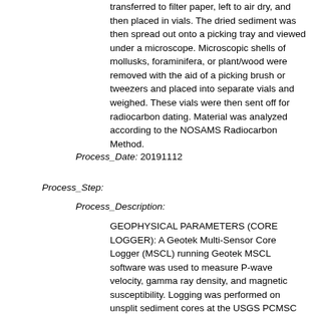transferred to filter paper, left to air dry, and then placed in vials. The dried sediment was then spread out onto a picking tray and viewed under a microscope. Microscopic shells of mollusks, foraminifera, or plant/wood were removed with the aid of a picking brush or tweezers and placed into separate vials and weighed. These vials were then sent off for radiocarbon dating. Material was analyzed according to the NOSAMS Radiocarbon Method.
Process_Date: 20191112
Process_Step:
Process_Description:
GEOPHYSICAL PARAMETERS (CORE LOGGER): A Geotek Multi-Sensor Core Logger (MSCL) running Geotek MSCL software was used to measure P-wave velocity, gamma ray density, and magnetic susceptibility. Logging was performed on unsplit sediment cores at the USGS PCMSC Core Lab at 1-centimeter intervals from the top of each 150-centimeter-long section of core. The reference core